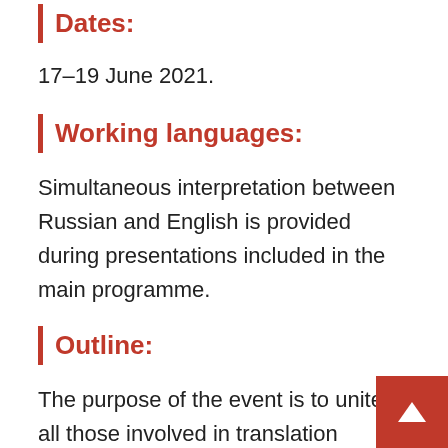Dates:
17–19 June 2021.
Working languages:
Simultaneous interpretation between Russian and English is provided during presentations included in the main programme.
Outline:
The purpose of the event is to unite all those involved in translation activities on one platform. The event will be useful for students studying translation and interpreting, novice and experienced